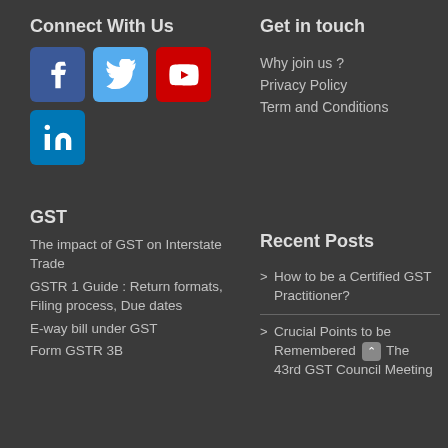Connect With Us
[Figure (illustration): Social media icons: Facebook, Twitter, YouTube, LinkedIn]
Get in touch
Why join us ?
Privacy Policy
Term and Conditions
GST
The impact of GST on Interstate Trade
GSTR 1 Guide : Return formats, Filing process, Due dates
E-way bill under GST
Form GSTR 3B
Recent Posts
> How to be a Certified GST Practitioner?
> Crucial Points to be Remembered in The 43rd GST Council Meeting